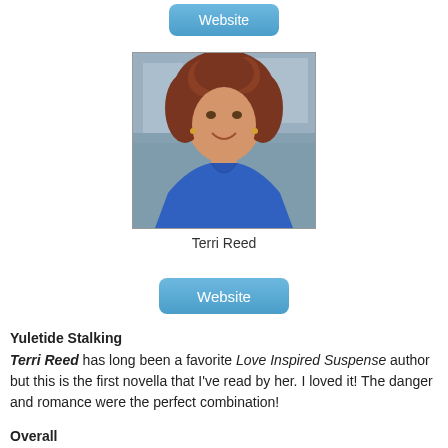[Figure (other): Blue rounded button labeled 'Website']
[Figure (photo): Author photo of Terri Reed, a woman with curly red hair wearing a blue sleeveless top, smiling at the camera]
Terri Reed
[Figure (other): Blue rounded button labeled 'Website']
Yuletide Stalking
Terri Reed has long been a favorite Love Inspired Suspense author but this is the first novella that I've read by her. I loved it! The danger and romance were the perfect combination!
Overall